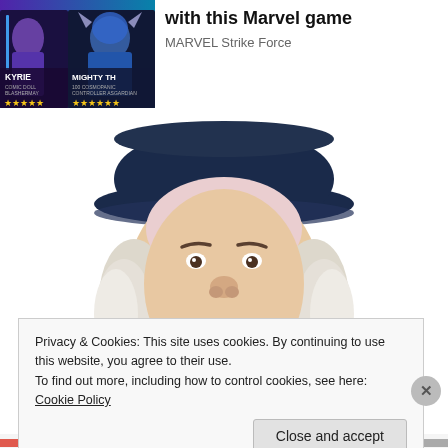[Figure (screenshot): MARVEL Strike Force game advertisement banner showing two characters KYRIE and MIGHTY THOR with star ratings on dark background]
with this Marvel game
MARVEL Strike Force
[Figure (illustration): Quaker Oats man mascot: a smiling older gentleman with white curly hair wearing a dark navy/blue colonial hat]
Privacy & Cookies: This site uses cookies. By continuing to use this website, you agree to their use.
To find out more, including how to control cookies, see here: Cookie Policy
Close and accept